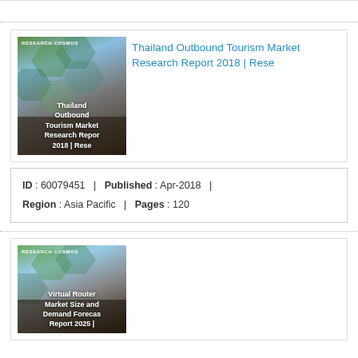[Figure (other): Partial top card strip with dotted border separator]
[Figure (illustration): Research Cosmos thumbnail image for Thailand Outbound Tourism Market Research Report 2018 with branded overlay and title text]
Thailand Outbound Tourism Market Research Report 2018 | Rese
| ID | Published | Region | Pages |
| --- | --- | --- | --- |
| 60079451 | Apr-2018 | Asia Pacific | 120 |
[Figure (illustration): Research Cosmos thumbnail image for Virtual Router Market Size and Demand Forecast Report 2025 with branded overlay and title text]